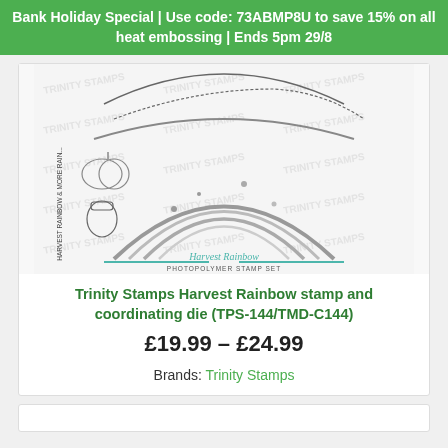Bank Holiday Special | Use code: 73ABMP8U to save 15% on all heat embossing | Ends 5pm 29/8
[Figure (photo): Product image of Harvest Rainbow Photopolymer Stamp Set by Trinity Stamps, showing decorative rainbow and botanical stamp designs with watermark text overlay.]
Trinity Stamps Harvest Rainbow stamp and coordinating die (TPS-144/TMD-C144)
£19.99 – £24.99
Brands: Trinity Stamps